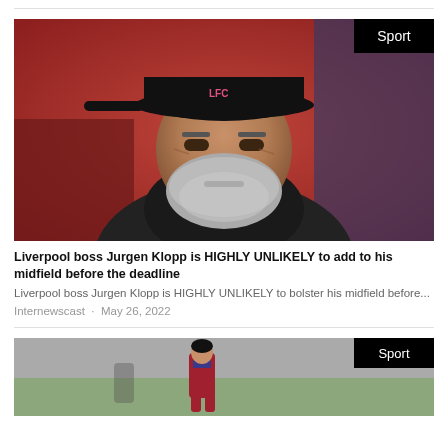[Figure (photo): Close-up photo of Liverpool manager Jurgen Klopp wearing a black baseball cap and dark hoodie, looking to the side with a serious expression. A 'Sport' badge appears in the top-right corner of the image.]
Liverpool boss Jurgen Klopp is HIGHLY UNLIKELY to add to his midfield before the deadline
Liverpool boss Jurgen Klopp is HIGHLY UNLIKELY to bolster his midfield before...
Internewscast · May 26, 2022
[Figure (photo): Photo of a football player in a red and blue Barcelona-style strip on a pitch with a crowd in the background. A 'Sport' badge appears in the top-right corner.]